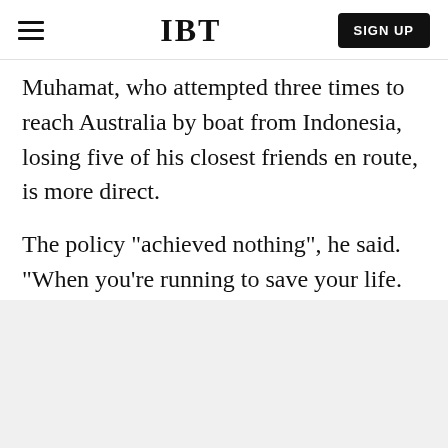IBT | SIGN UP
Muhamat, who attempted three times to reach Australia by boat from Indonesia, losing five of his closest friends en route, is more direct.
The policy "achieved nothing", he said. "When you're running to save your life. You don't think about the tragedy you will encounter on your journey."